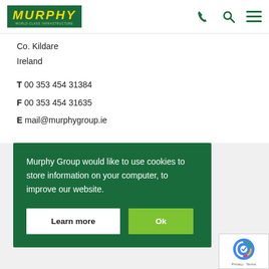[Figure (logo): Murphy Group logo — green rectangle with yellow italic MURPHY text and green subtitle 'WORLD-CLASS INFRASTRUCTURE']
Co. Kildare
Ireland
T 00 353 454 31384
F 00 353 454 31635
E mail@murphygroup.ie
Murphy Group would like to use cookies to store information on your computer, to improve our website.
Learn more
Ok